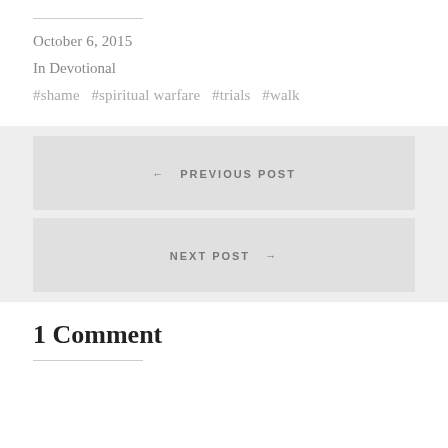October 6, 2015
In Devotional
#shame  #spiritual warfare  #trials  #walk
← PREVIOUS POST
NEXT POST →
1 Comment